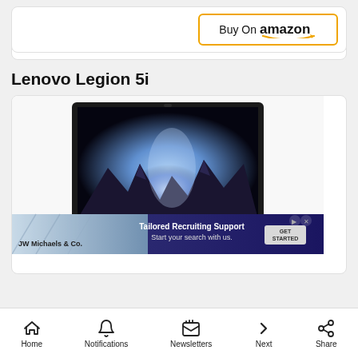[Figure (other): Buy On Amazon button with orange border and Amazon logo with smile arrow]
Lenovo Legion 5i
[Figure (photo): Lenovo Legion 5i gaming laptop with a fantasy/space game scene on the screen, partially overlaid by a 'JW Michaels & Co. Tailored Recruiting Support' advertisement banner]
Home  Notifications  Newsletters  Next  Share